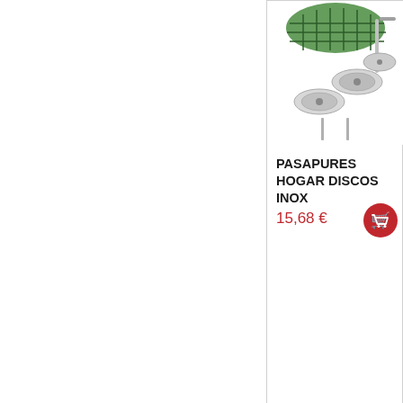[Figure (photo): Partial view of a food mill (pasapures) with metal discs, green colander part visible at top, stainless steel discs visible]
PASAPURES HOGAR DISCOS INOX
15,68 €
[Figure (other): Red circular shopping cart button icon]
[Figure (photo): Product image area for Pinzas Jumbo Nylon (empty/white area in partial view)]
PINZAS JUMBO NYLON